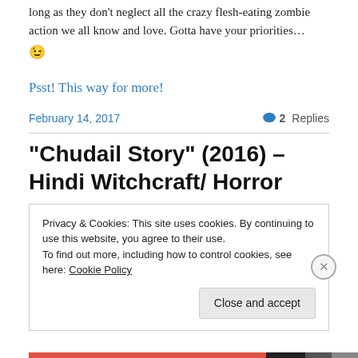long as they don't neglect all the crazy flesh-eating zombie action we all know and love. Gotta have your priorities… 😉
Psst! This way for more!
February 14, 2017   💬 2 Replies
“Chudail Story” (2016) – Hindi Witchcraft/ Horror
Privacy & Cookies: This site uses cookies. By continuing to use this website, you agree to their use. To find out more, including how to control cookies, see here: Cookie Policy
Close and accept